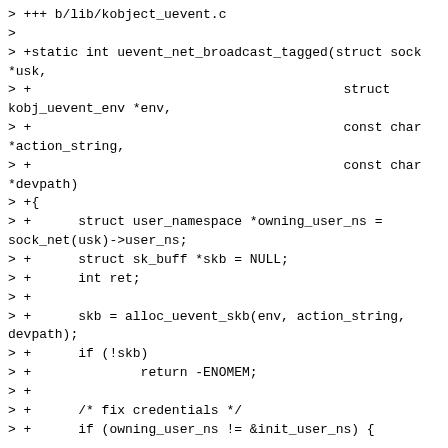> +++ b/lib/kobject_uevent.c
>
> +static int uevent_net_broadcast_tagged(struct sock *usk,
> +                                        struct kobj_uevent_env *env,
> +                                        const char *action_string,
> +                                        const char *devpath)
> +{
> +      struct user_namespace *owning_user_ns =
sock_net(usk)->user_ns;
> +      struct sk_buff *skb = NULL;
> +      int ret;
> +
> +      skb = alloc_uevent_skb(env, action_string,
devpath);
> +      if (!skb)
> +              return -ENOMEM;
> +
> +      /* fix credentials */
> +      if (owning_user_ns != &init_user_ns) {
Nit: This test is just a performance optimization as such is not
      necessary.  That is we can safely unconditionally set the
        credentials this way.
> +              struct netlink_skb_parms *parms =